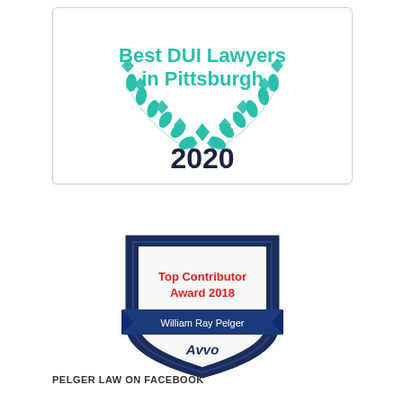[Figure (logo): Best DUI Lawyers in Pittsburgh 2020 award badge with teal laurel wreath and year 2020]
[Figure (logo): Avvo Top Contributor Award 2018 badge for William Ray Pelger, shield shape in dark navy blue]
PELGER LAW ON FACEBOOK